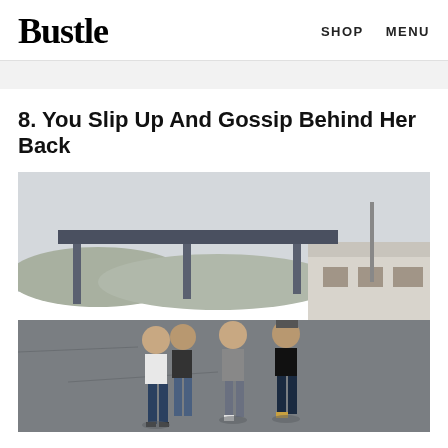Bustle  SHOP  MENU
8. You Slip Up And Gossip Behind Her Back
[Figure (photo): Four young women walking together in a parking lot in front of an abandoned gas station canopy, hills and overcast sky in background.]